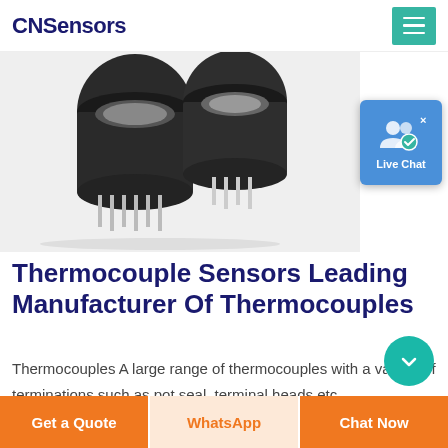CNSensors
[Figure (photo): Two black cylindrical thermocouple sensor components with metal pins on white background]
[Figure (other): Live Chat widget button with person icon and checkmark on blue background]
Thermocouple Sensors Leading Manufacturer Of Thermocouples
Thermocouples A large range of thermocouples with a variety of terminations such as pot seal, terminal heads etc. Thermocouple Types There are several different thermocouple...
Get a Quote | WhatsApp | Chat Now